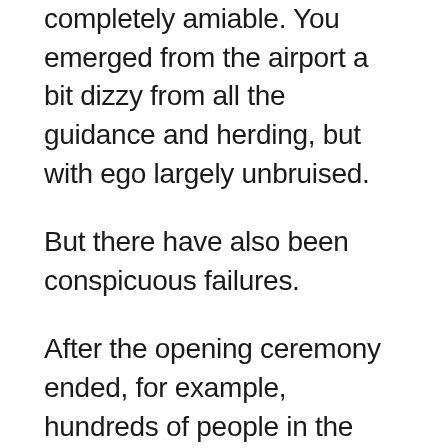completely amiable. You emerged from the airport a bit dizzy from all the guidance and herding, but with ego largely unbruised.
But there have also been conspicuous failures.
After the opening ceremony ended, for example, hundreds of people in the stadium were crammed into a corrallike pen, forced to wait for hours with only a flimsy barricade separating them from curious Japanese onlookers, while